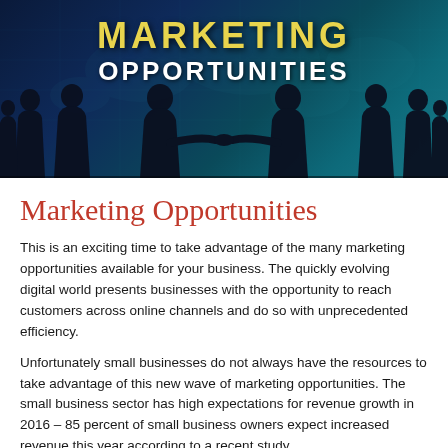[Figure (photo): Dark blue banner with silhouettes of business people against a world map background. Text reads 'MARKETING OPPORTUNITIES' in yellow and white uppercase letters.]
Marketing Opportunities
This is an exciting time to take advantage of the many marketing opportunities available for your business. The quickly evolving digital world presents businesses with the opportunity to reach customers across online channels and do so with unprecedented efficiency.
Unfortunately small businesses do not always have the resources to take advantage of this new wave of marketing opportunities. The small business sector has high expectations for revenue growth in 2016 – 85 percent of small business owners expect increased revenue this year according to a recent study.